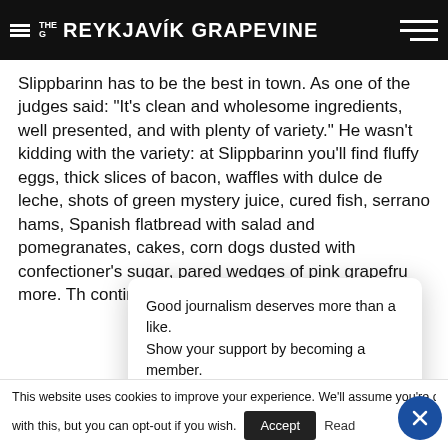THE G REYKJAVÍK GRAPEVINE
Slippbarinn has to be the best in town. As one of the judges said: “It’s clean and wholesome ingredients, well presented, and with plenty of variety.” He wasn’t kidding with the variety: at Slippbarinn you’ll find fluffy eggs, thick slices of bacon, waffles with dulce de leche, shots of green mystery juice, cured fish, serrano hams, Spanish flatbread with salad and pomegranates, cakes, corn dogs dusted with confectioner’s sugar, pared wedges of pink grapefruit, more. The continen that will l nots had
Good journalism deserves more than a like. Show your support by becoming a member.
BECOME A SUPPORTER
This website uses cookies to improve your experience. We’ll assume you’re ok with this, but you can opt-out if you wish.
Accept
Read